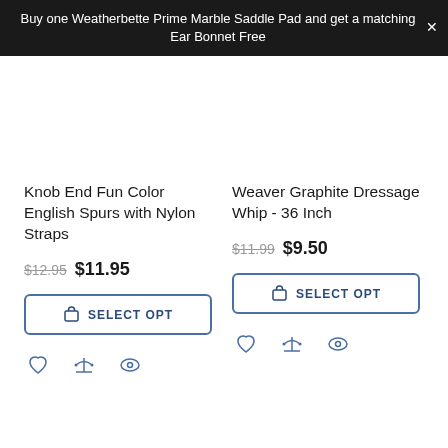Buy one Weatherbette Prime Marble Saddle Pad and get a matching Ear Bonnet Free
Knob End Fun Color English Spurs with Nylon Straps
$12.95 $11.95
Weaver Graphite Dressage Whip - 36 Inch
$11.99 $9.50